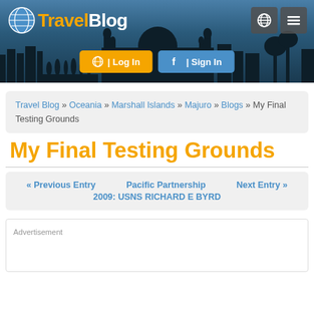[Figure (screenshot): TravelBlog website header banner with globe logo, silhouette skyline of Taj Mahal and city, Log In button (orange) and Sign In button (blue), globe icon and hamburger menu icon in top right]
Travel Blog » Oceania » Marshall Islands » Majuro » Blogs » My Final Testing Grounds
My Final Testing Grounds
« Previous Entry   Pacific Partnership   Next Entry »
2009: USNS RICHARD E BYRD
Advertisement